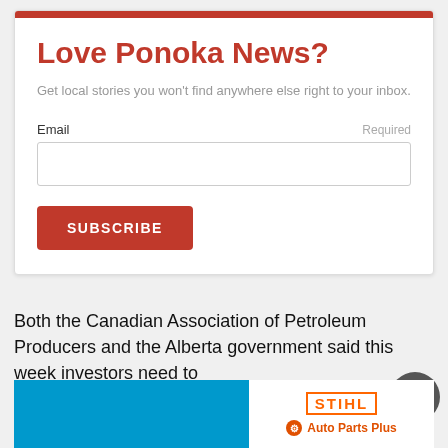Love Ponoka News?
Get local stories you won't find anywhere else right to your inbox.
Email   Required
SUBSCRIBE
Both the Canadian Association of Petroleum Producers and the Alberta government said this week investors need to
[Figure (logo): STIHL Auto Parts Plus advertisement banner with blue background on the left and white panel on the right showing STIHL logo and Auto Parts Plus branding]